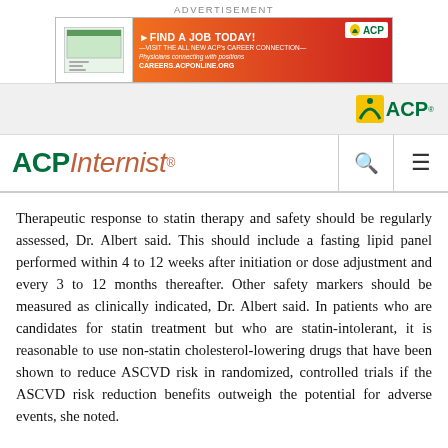ADVERTISEMENT
[Figure (illustration): ACP Career Connection advertisement banner: 'FIND A JOB TODAY! VISIT THE ALL NEW ACP's CAREER CONNECTION — Physicians connecting with positions — CAREERS.ACPONLINE.ORG' with ACP logo on red/orange background]
[Figure (logo): ACP logo in page header bar]
ACP Internist
Therapeutic response to statin therapy and safety should be regularly assessed, Dr. Albert said. This should include a fasting lipid panel performed within 4 to 12 weeks after initiation or dose adjustment and every 3 to 12 months thereafter. Other safety markers should be measured as clinically indicated, Dr. Albert said. In patients who are candidates for statin treatment but who are statin-intolerant, it is reasonable to use non-statin cholesterol-lowering drugs that have been shown to reduce ASCVD risk in randomized, controlled trials if the ASCVD risk reduction benefits outweigh the potential for adverse events, she noted.